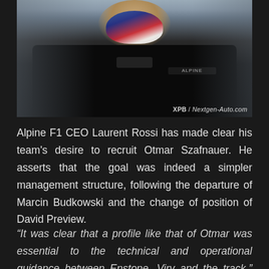[Figure (photo): A motorsport figure wearing a black jacket and a mask with blue/red design, photographed at a racing event. Watermark reads 'XPB / Nextgen-Auto.com' in the bottom right corner.]
Alpine F1 CEO Laurent Rossi has made clear his team's desire to recruit Otmar Szafnauer. He asserts that the goal was indeed a simpler management structure, following the departure of Marcin Budkowski and the change of position of David Preview.
“It was clear that a profile like that of Otmar was essential to the technical and operational guidance between Enstone, Viry and the track.” Russian said